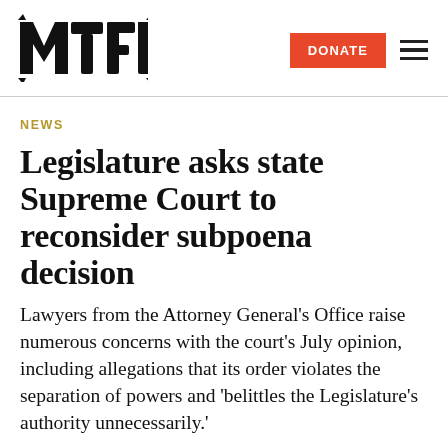[Figure (logo): MTFP logo in bold black block lettering]
NEWS
Legislature asks state Supreme Court to reconsider subpoena decision
Lawyers from the Attorney General’s Office raise numerous concerns with the court’s July opinion, including allegations that its order violates the separation of powers and ‘belittles the Legislature’s authority unnecessarily.’